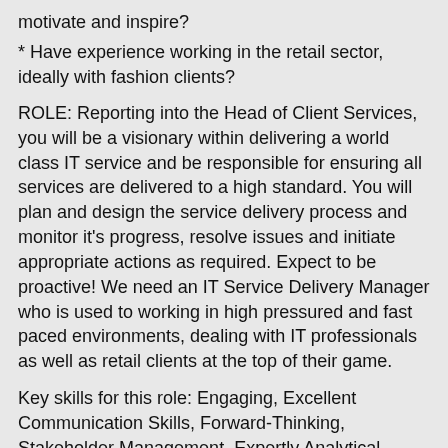* motivate and inspire?
* Have experience working in the retail sector, ideally with fashion clients?
ROLE: Reporting into the Head of Client Services, you will be a visionary within delivering a world class IT service and be responsible for ensuring all services are delivered to a high standard. You will plan and design the service delivery process and monitor it's progress, resolve issues and initiate appropriate actions as required. Expect to be proactive! We need an IT Service Delivery Manager who is used to working in high pressured and fast paced environments, dealing with IT professionals as well as retail clients at the top of their game.
Key skills for this role: Engaging, Excellent Communication Skills, Forward-Thinking, Stakeholder Management, Expertly Analytical, Effective Leadership Skills, Client-Facing Experience and has worked for retail and IT